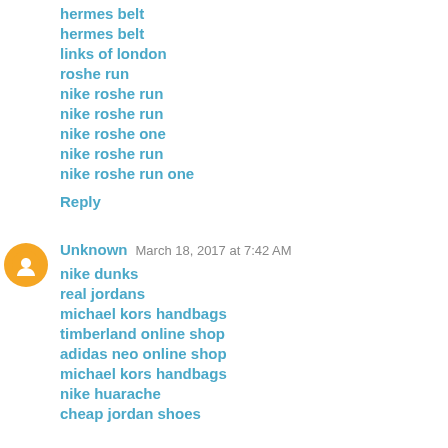hermes belt
hermes belt
links of london
roshe run
nike roshe run
nike roshe run
nike roshe one
nike roshe run
nike roshe run one
Reply
Unknown  March 18, 2017 at 7:42 AM
nike dunks
real jordans
michael kors handbags
timberland online shop
adidas neo online shop
michael kors handbags
nike huarache
cheap jordan shoes